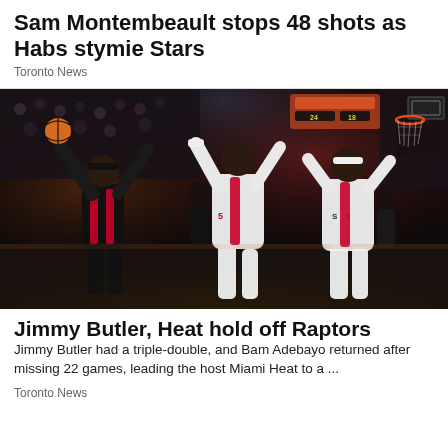Sam Montembeault stops 48 shots as Habs stymie Stars
Toronto News
[Figure (photo): Basketball game action photo showing Miami Heat players in black uniforms and Toronto Raptors players in white uniforms with red stripes competing during an NBA game inside an arena.]
Jimmy Butler, Heat hold off Raptors
Jimmy Butler had a triple-double, and Bam Adebayo returned after missing 22 games, leading the host Miami Heat to a ...
Toronto News